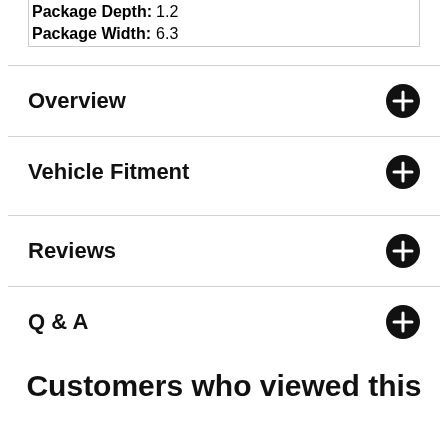| Package Depth: | 1.2 |
| Package Width: | 6.3 |
Overview
Vehicle Fitment
Reviews
Q & A
Customers who viewed this